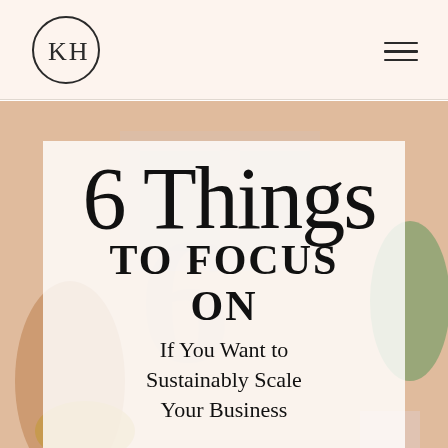KH logo and navigation menu
[Figure (illustration): Background photo of a blurred workspace/office with a person sitting at a table, warm tones]
6 Things TO FOCUS ON If You Want to Sustainably Scale Your Business